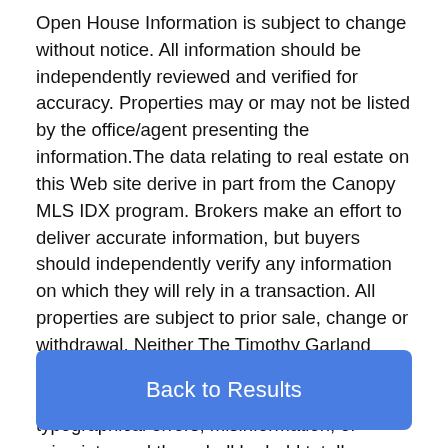Open House Information is subject to change without notice. All information should be independently reviewed and verified for accuracy. Properties may or may not be listed by the office/agent presenting the information. The data relating to real estate on this Web site derive in part from the Canopy MLS IDX program. Brokers make an effort to deliver accurate information, but buyers should independently verify any information on which they will rely in a transaction. All properties are subject to prior sale, change or withdrawal. Neither The Timothy Garland Group | Keller Williams Fort Mill nor any listing broker shall be responsible for any typographical errors, misinformation, or misprints, and they shall be held totally harmless from any damages arising from reliance upon this data. This data is provided exclusively for consumers' personal, non-commercial use and may not be used for any purpose
Back to Results